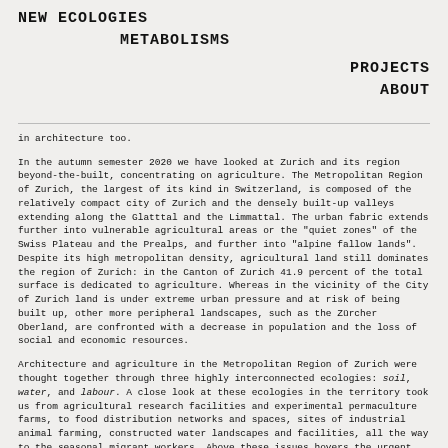NEW ECOLOGIES
METABOLISMS
PROJECTS
ABOUT
in architecture too.
In the autumn semester 2020 we have looked at Zurich and its region beyond-the-built, concentrating on agriculture. The Metropolitan Region of Zurich, the largest of its kind in Switzerland, is composed of the relatively compact city of Zurich and the densely built-up valleys extending along the Glatttal and the Limmattal. The urban fabric extends further into vulnerable agricultural areas or the "quiet zones" of the Swiss Plateau and the Prealps, and further into "alpine fallow lands". Despite its high metropolitan density, agricultural land still dominates the region of Zurich: in the Canton of Zurich 41.9 percent of the total surface is dedicated to agriculture. Whereas in the vicinity of the City of Zurich land is under extreme urban pressure and at risk of being built up, other more peripheral landscapes, such as the Zürcher Oberland, are confronted with a decrease in population and the loss of social and economic resources.
Architecture and agriculture in the Metropolitan Region of Zurich were thought together through three highly interconnected ecologies: soil, water, and labour. A close look at these ecologies in the territory took us from agricultural research facilities and experimental permaculture farms, to food distribution networks and spaces, sites of industrial animal farming, constructed water landscapes and facilities, all the way to the seasonal migrant workers. Above these issues hovers the urgent need for a radical overhaul of agricultural practices. Recently, across the public landscape of Zurich, environmental movements – Fridays for Future, Climate Strike, Extinction Rebellion, and other solidary pioneer groups and cooperatives – have gained momentum. These movements have helped raise awareness and